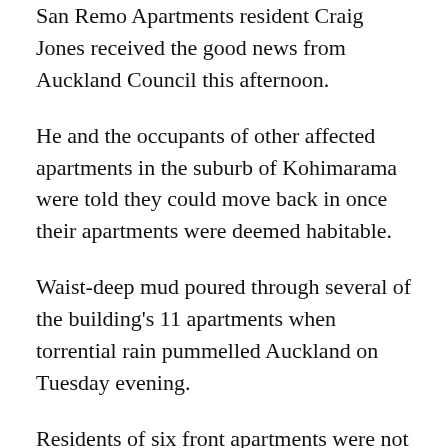San Remo Apartments resident Craig Jones received the good news from Auckland Council this afternoon.
He and the occupants of other affected apartments in the suburb of Kohimarama were told they could move back in once their apartments were deemed habitable.
Waist-deep mud poured through several of the building's 11 apartments when torrential rain pummelled Auckland on Tuesday evening.
Residents of six front apartments were not affected and had already returned home, but those living in five rear apartments have been in limbo.
Jones, 45, was home today removing personal property and said several truckloads of mud had also been dug out